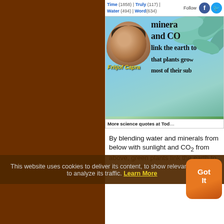Time (1858) | Truly (117) | Water (494) | Words (634)
Follow
[Figure (photo): Promotional image featuring Fritjof Capra with green leaves background. Quote text reads: 'minerals and CO2 link the earth to that plants grow most of their sub'. Bottom bar: 'More science quotes at Tod...']
By blending water and minerals from below with sunlight and CO₂ from above, green plants link the earth to the sky. We tend to believe that
This website uses cookies to deliver its content, to show relevant ads and to analyze its traffic. Learn More
Got It